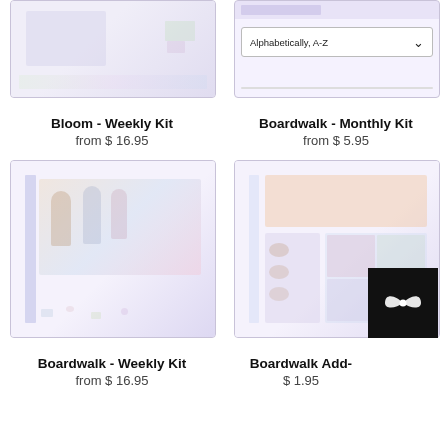[Figure (photo): Bloom Weekly Kit product image - partial view at top, planner sticker kit with pastel colors]
[Figure (screenshot): Boardwalk Monthly Kit product image with Alphabetically A-Z sort dropdown visible at top]
Bloom - Weekly Kit
from $ 16.95
Boardwalk - Monthly Kit
from $ 5.95
[Figure (photo): Boardwalk Weekly Kit product image - illustrated figures lounging, pastel tones]
[Figure (photo): Boardwalk Add-On product image - grid layout with character stickers and icons]
Boardwalk - Weekly Kit
from $ 16.95
Boardwalk Add-
$ 1.95